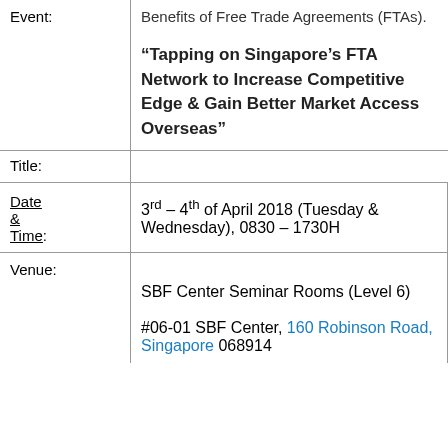Benefits of Free Trade Agreements (FTAs).
Event:
“Tapping on Singapore’s FTA Network to Increase Competitive Edge & Gain Better Market Access Overseas”
Title:
Date & Time:
3rd – 4th of April 2018 (Tuesday & Wednesday), 0830 – 1730H
Venue:
SBF Center Seminar Rooms (Level 6)
#06-01 SBF Center, 160 Robinson Road, Singapore 068914